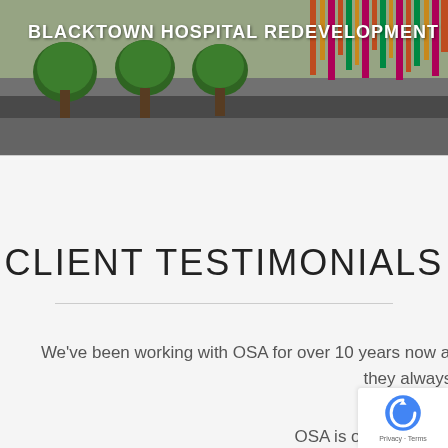[Figure (photo): Exterior photo of Blacktown Hospital Redevelopment building with trees in foreground and colorful vertical panels on facade]
BLACKTOWN HOSPITAL REDEVELOPMENT
CLIENT TESTIMONIALS
We've been working with OSA for over 10 years now and nothing's ever a problem. They're easy to deal with and they always deliver on site.
OSA is our preferred contractor because they